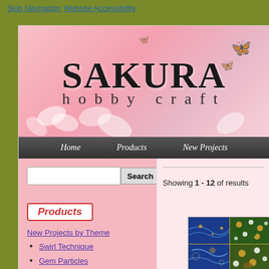Skip Navigation  Website Accessibility
[Figure (illustration): Sakura Hobby Craft banner with pink cherry blossom background, butterflies, and decorative flowers. Large text reads SAKURA hobby craft.]
Home   Products   New Projects
Search
Products
New Projects by Theme
Swirl Technique
Gem Particles
Fancy Glass Pendants
What's New
Showing 1 - 12 of results
[Figure (photo): Grid of 4 product photos showing decorative craft papers/fabrics with floral and nature patterns in blue, green, and earth tones.]